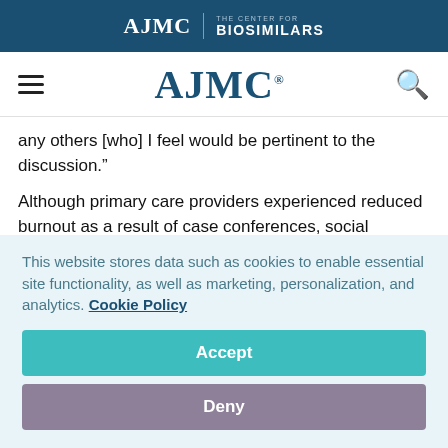AJMC | THE CENTER FOR BIOSIMILARS
AJMC
any others [who] I feel would be pertinent to the discussion."
Although primary care providers experienced reduced burnout as a result of case conferences, social workers perceived increased workloads due to the number of tasks that they needed to accomplish following case conferences. However,
This website stores data such as cookies to enable essential site functionality, as well as marketing, personalization, and analytics. Cookie Policy
Accept
Deny